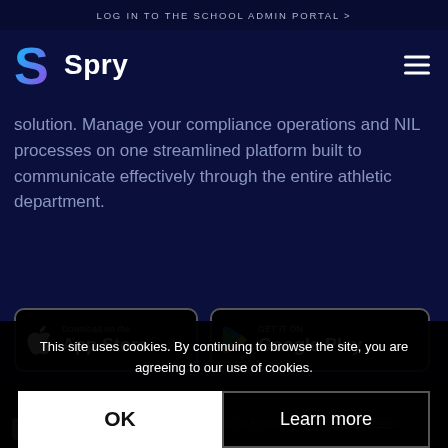LOG IN TO THE SCHOOL ADMIN PORTAL >
[Figure (logo): Spry logo: stylized S in gradient blue-purple with white 'Spry' wordmark]
solution. Manage your compliance operations and NIL processes on one streamlined platform built to communicate effectively through the entire athletic department.
[Figure (other): Download on the App Store button]
[Figure (other): Get it on Google Play button]
This site uses cookies. By continuing to browse the site, you are agreeing to our use of cookies.
OK
Learn more